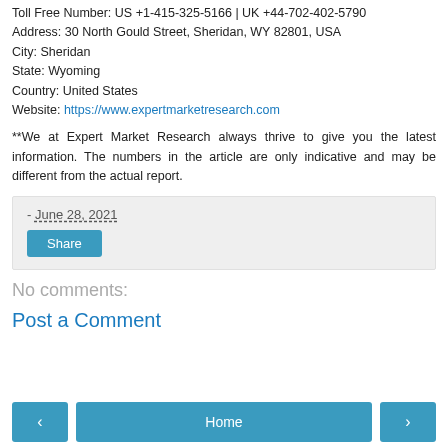Toll Free Number: US +1-415-325-5166 | UK +44-702-402-5790
Address: 30 North Gould Street, Sheridan, WY 82801, USA
City: Sheridan
State: Wyoming
Country: United States
Website: https://www.expertmarketresearch.com
**We at Expert Market Research always thrive to give you the latest information. The numbers in the article are only indicative and may be different from the actual report.
- June 28, 2021
Share
No comments:
Post a Comment
‹  Home  ›